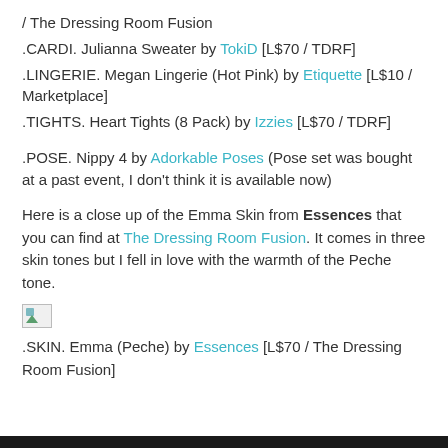/ The Dressing Room Fusion
.CARDI. Julianna Sweater by TokiD [L$70 / TDRF]
.LINGERIE. Megan Lingerie (Hot Pink) by Etiquette [L$10 / Marketplace]
.TIGHTS. Heart Tights (8 Pack) by Izzies [L$70 / TDRF]
.POSE. Nippy 4 by Adorkable Poses (Pose set was bought at a past event, I don’t think it is available now)
Here is a close up of the Emma Skin from Essences that you can find at The Dressing Room Fusion. It comes in three skin tones but I fell in love with the warmth of the Peche tone.
[Figure (other): Broken image placeholder icon]
.SKIN. Emma (Peche) by Essences [L$70 / The Dressing Room Fusion]